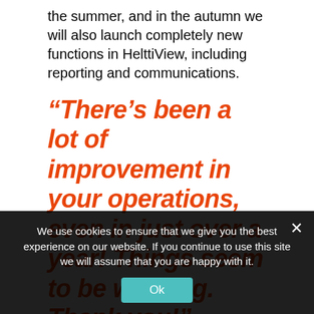the summer, and in the autumn we will also launch completely new functions in HelttiView, including reporting and communications.
“There’s been a lot of improvement in your operations, even in just over a year! Things seem to be working. Thank you!”
There was a desire for clarification of operating models, especially with regard to medical care. We are
We use cookies to ensure that we give you the best experience on our website. If you continue to use this site we will assume that you are happy with it.